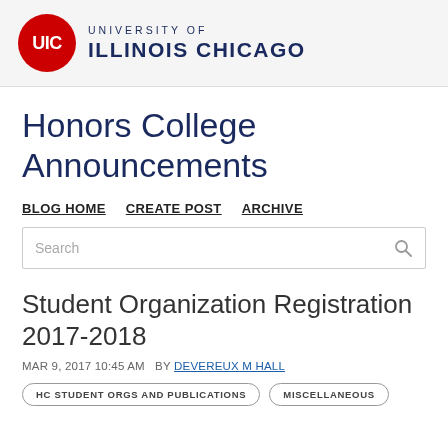[Figure (logo): University of Illinois Chicago (UIC) logo with red circle containing white UIC text and dark blue university name text]
Honors College Announcements
BLOG HOME   CREATE POST   ARCHIVE
Search
Student Organization Registration 2017-2018
MAR 9, 2017 10:45 AM  BY DEVEREUX M HALL
HC STUDENT ORGS AND PUBLICATIONS   MISCELLANEOUS